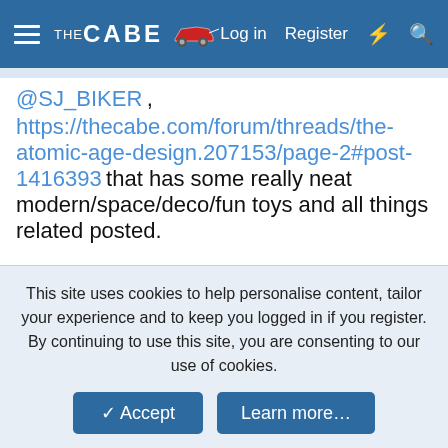THE CABE | Log in | Register
@SJ_BIKER , https://thecabe.com/forum/threads/the-atomic-age-design.207153/page-2#post-1416393 that has some really neat modern/space/deco/fun toys and all things related posted.
I almost had a heart attack with the starting item. A HUGE 30" Atom Jet toy car posted by @SJ_BIKER that I've been seeking for a couple of decades. It was "reference only" taken from a website, so I still didn't find one. There is a rough on on Ebay for $3600.00,
This site uses cookies to help personalise content, tailor your experience and to keep you logged in if you register.
By continuing to use this site, you are consenting to our use of cookies.